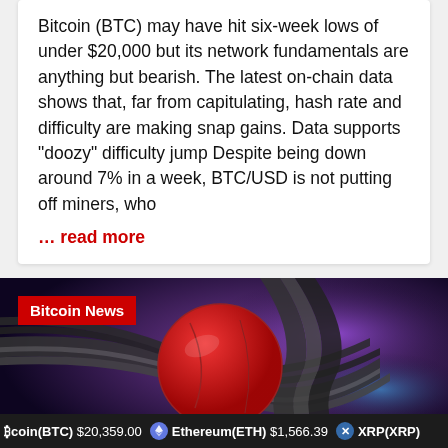Bitcoin (BTC) may have hit six-week lows of under $20,000 but its network fundamentals are anything but bearish. The latest on-chain data shows that, far from capitulating, hash rate and difficulty are making snap gains. Data supports "doozy" difficulty jump Despite being down around 7% in a week, BTC/USD is not putting off miners, who
... read more
[Figure (illustration): Bitcoin News article image showing an illustrated red boxing glove or sphere caught in twisted metal cables, against a purple and dark background. A 'Bitcoin News' red badge is overlaid at the top left.]
coin(BTC) $20,359.00   Ethereum(ETH) $1,566.39   XRP(XRP)